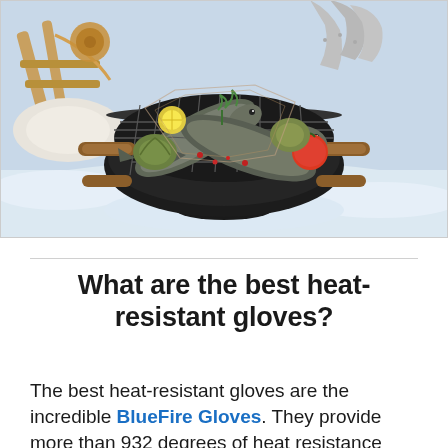[Figure (photo): A round portable charcoal grill with fish, vegetables (artichokes, tomatoes, lemon slices), and herbs grilling on the grate, set outdoors in a snowy winter scene with wooden sled and reindeer fur in background. Someone's gloved hand is holding the grill handle.]
What are the best heat-resistant gloves?
The best heat-resistant gloves are the incredible BlueFire Gloves. They provide more than 932 degrees of heat resistance